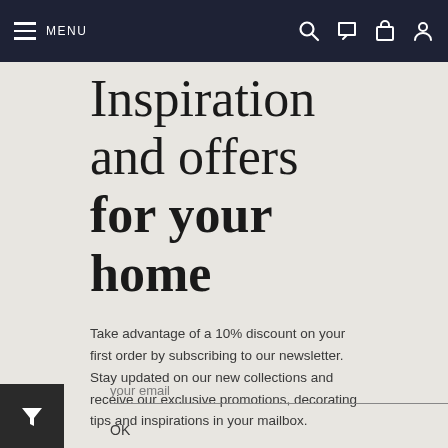MENU
Inspiration and offers for your home
Take advantage of a 10% discount on your first order by subscribing to our newsletter. Stay updated on our new collections and receive our exclusive promotions, decorating tips and inspirations in your mailbox.
your email
OK